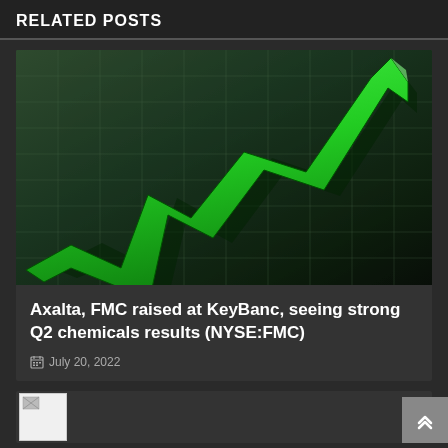RELATED POSTS
[Figure (illustration): 3D green upward-trending arrow on a dark green grid background, representing stock market growth]
Axalta, FMC raised at KeyBanc, seeing strong Q2 chemicals results (NYSE:FMC)
July 20, 2022
[Figure (photo): Second related post card with broken image placeholder]